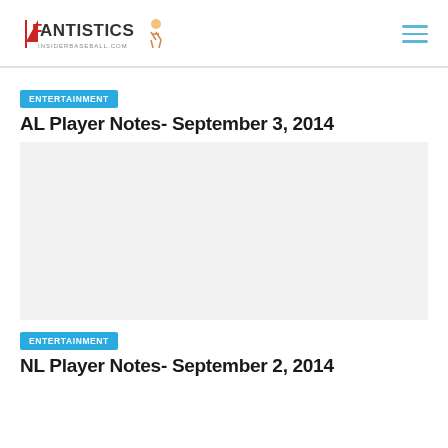Fantistics InsiderBaseball.com
ENTERTAINMENT
AL Player Notes- September 3, 2014
ENTERTAINMENT
NL Player Notes- September 2, 2014